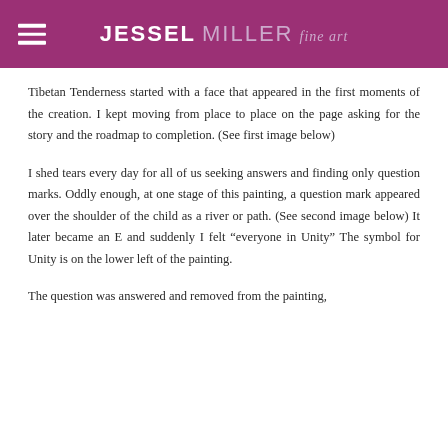JESSEL MILLER fine art
Tibetan Tenderness started with a face that appeared in the first moments of the creation. I kept moving from place to place on the page asking for the story and the roadmap to completion. (See first image below)
I shed tears every day for all of us seeking answers and finding only question marks. Oddly enough, at one stage of this painting, a question mark appeared over the shoulder of the child as a river or path. (See second image below) It later became an E and suddenly I felt “everyone in Unity” The symbol for Unity is on the lower left of the painting.
The question was answered and removed from the painting,